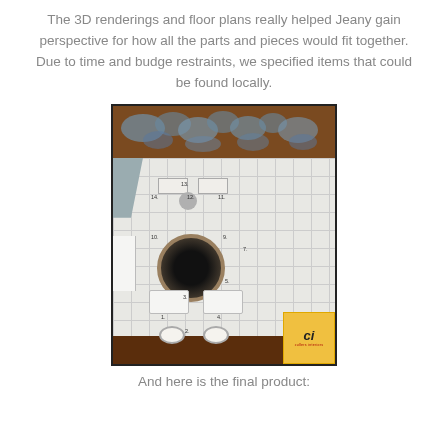The 3D renderings and floor plans really helped Jeany gain perspective for how all the parts and pieces would fit together. Due to time and budge restraints, we specified items that could be found locally.
[Figure (illustration): A 3D floor plan rendering of a living/dining room space shown from above, with numbered furniture items, a rug with circular pattern, dining chairs, sofas, and a logo badge in the corner. The room has a brown exterior frame, tiled floor, right-side windows, and a curtain on the left.]
And here is the final product: